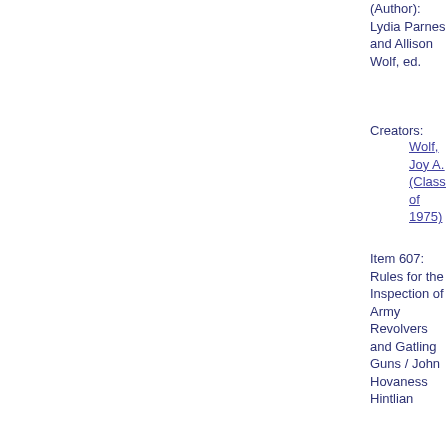(Author): Lydia Parnes and Allison Wolf, ed.
Creators: Wolf, Joy A. (Class of 1975)
Item 607: Rules for the Inspection of Army Revolvers and Gatling Guns / John Hovaness Hintlian